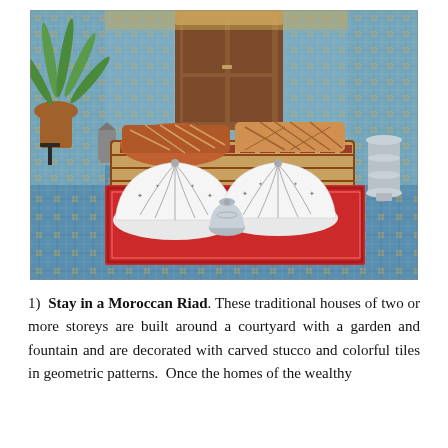[Figure (photo): A Moroccan riad courtyard scene showing colorful mosaic tile floors in blue and gold geometric patterns, a low seating area with red and brown patterned cushions and pillows, two white food covers with embroidery on a red rug, a silver teapot in the center, a potted palm plant on the left, silver lanterns, a dark wooden door in the background, and ornate tiled walls.]
1)  Stay in a Moroccan Riad. These traditional houses of two or more storeys are built around a courtyard with a garden and fountain and are decorated with carved stucco and colorful tiles in geometric patterns.  Once the homes of the wealthy